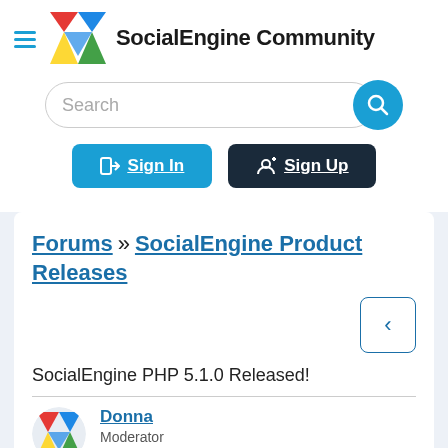SocialEngine Community
[Figure (logo): SocialEngine colorful S logo with red, yellow, green, blue triangular shapes]
Search
Sign In
Sign Up
Forums » SocialEngine Product Releases
SocialEngine PHP 5.1.0 Released!
Donna
Moderator